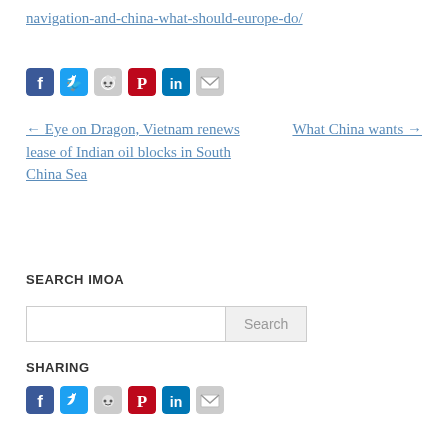navigation-and-china-what-should-europe-do/
[Figure (other): Row of social sharing icons: Facebook, Twitter, Reddit, Pinterest, LinkedIn, Email]
← Eye on Dragon, Vietnam renews lease of Indian oil blocks in South China Sea
What China wants →
SEARCH IMOA
[Figure (other): Search input box with Search button]
SHARING
[Figure (other): Row of social sharing icons: Facebook, Twitter, Reddit, Pinterest, LinkedIn, Email]